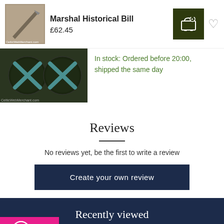Marshal Historical Bill
£62.45
[Figure (photo): Product thumbnail image of Marshal Historical Bill weapon]
[Figure (photo): Product image showing two dark circular shields/targets with blue X patterns, watermarked CelticWebMerchant.com]
In stock: Ordered before 20:00, shipped the same day
Reviews
No reviews yet, be the first to write a review
Create your own review
Recently viewed
[Figure (logo): Trust badge: pink background with checkmark icon and score 9,1]